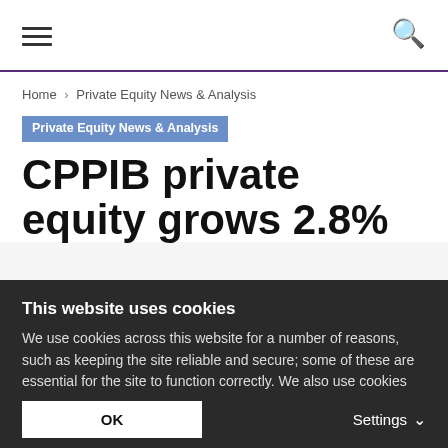≡  🔍
Home › Private Equity News & Analysis
Private Equity News & Analysis
CPPIB private equity grows 2.8%
This website uses cookies
We use cookies across this website for a number of reasons, such as keeping the site reliable and secure; some of these are essential for the site to function correctly. We also use cookies for cross-site statistics, marketing and analysis. You can change these at any time by clicking the settings below.
OK  Settings